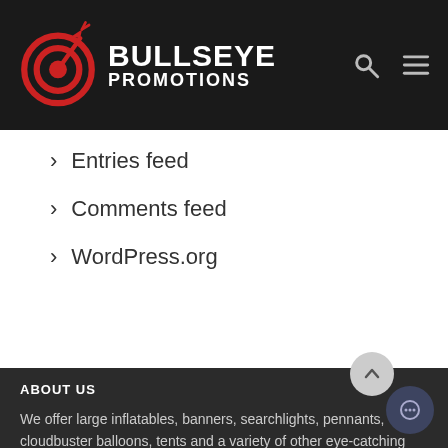[Figure (logo): Bullseye Promotions logo: red target/bullseye with arrow icon, white bold text BULLSEYE PROMOTIONS on black header background]
Entries feed
Comments feed
WordPress.org
ABOUT US
We offer large inflatables, banners, searchlights, pennants, cloudbuster balloons, tents and a variety of other eye-catching advertising pieces.